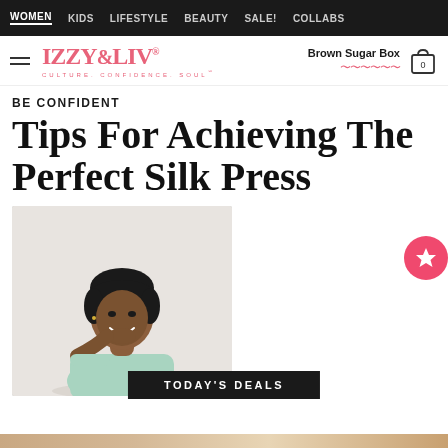WOMEN  KIDS  LIFESTYLE  BEAUTY  SALE!  COLLABS
[Figure (logo): IZZY&LIV logo with tagline CULTURE. CONFIDENCE. SOUL and Brown Sugar Box text with wavy underline and shopping bag icon]
BE CONFIDENT
Tips For Achieving The Perfect Silk Press
[Figure (photo): A smiling Black woman with short dark hair, wearing a light mint/green top, resting her chin on her hand against a light background]
TODAY'S DEALS